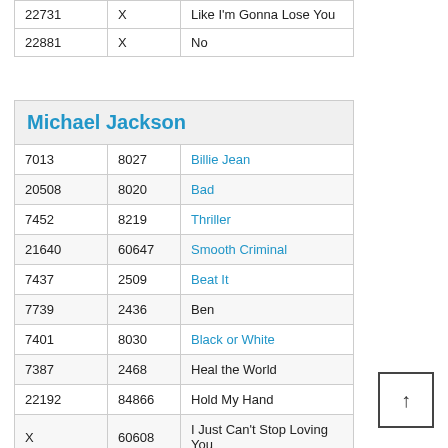| 22731 | X | Like I'm Gonna Lose You |
| 22881 | X | No |
|  |  | Michael Jackson |
| --- | --- | --- |
| 7013 | 8027 | Billie Jean |
| 20508 | 8020 | Bad |
| 7452 | 8219 | Thriller |
| 21640 | 60647 | Smooth Criminal |
| 7437 | 2509 | Beat It |
| 7739 | 2436 | Ben |
| 7401 | 8030 | Black or White |
| 7387 | 2468 | Heal the World |
| 22192 | 84866 | Hold My Hand |
| X | 60608 | I Just Can't Stop Loving You |